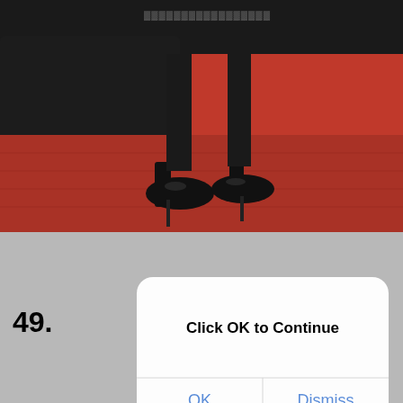[Figure (photo): Close-up photo of a person's legs and feet wearing black high-heel shoes standing on a red carpet, with dark background behind.]
49.
[Figure (screenshot): iOS-style dialog box with white rounded rectangle background. Title reads 'Click OK to Continue' in bold. Two buttons below: 'OK' on the left and 'Dismiss' on the right, both in blue text.]